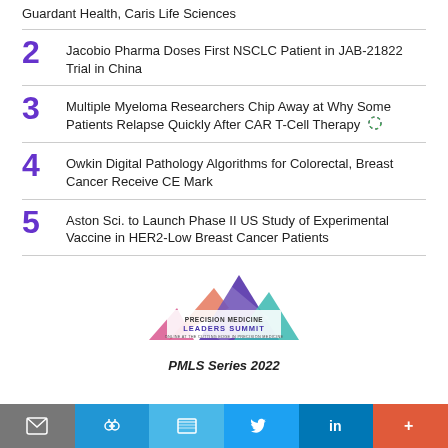Guardant Health, Caris Life Sciences
2  Jacobio Pharma Doses First NSCLC Patient in JAB-21822 Trial in China
3  Multiple Myeloma Researchers Chip Away at Why Some Patients Relapse Quickly After CAR T-Cell Therapy
4  Owkin Digital Pathology Algorithms for Colorectal, Breast Cancer Receive CE Mark
5  Aston Sci. to Launch Phase II US Study of Experimental Vaccine in HER2-Low Breast Cancer Patients
[Figure (logo): Precision Medicine Leaders Summit logo with mountain graphic]
PMLS Series 2022
Email | Share | Print | Twitter | LinkedIn | More